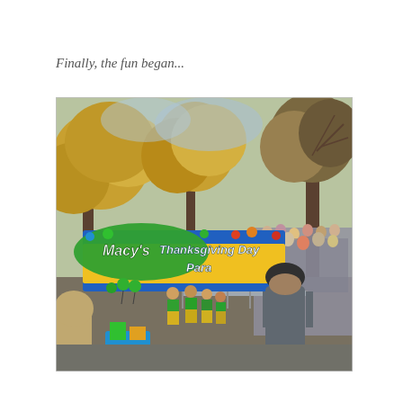Finally, the fun began...
[Figure (photo): Photograph of the Macy's Thanksgiving Day Parade. A large colorful banner reads 'Macy's Thanksgiving Day Para...' with performers in green and yellow costumes visible beneath it, trees with autumn foliage in the background, crowds watching from the right side, and a man in a gray jacket and dark cap in the foreground.]